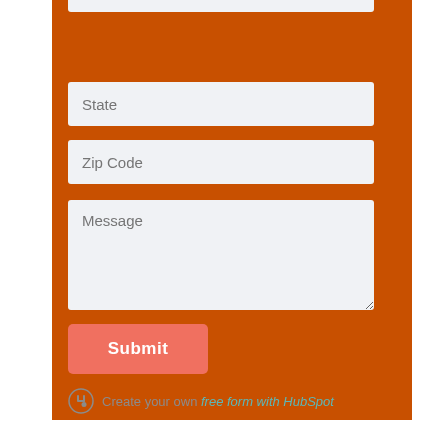[Figure (screenshot): Web form on an orange background with fields for City, State, Zip Code, Message, a Submit button, and a HubSpot branding footer]
City
State
Zip Code
Message
Submit
Create your own free form with HubSpot